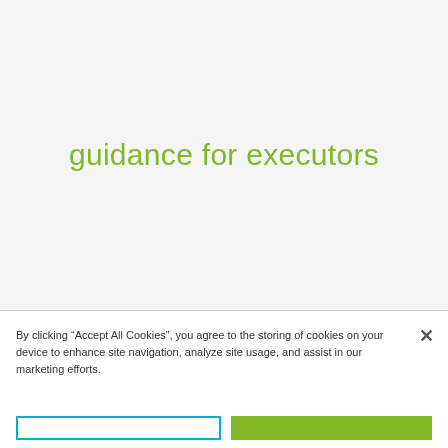guidance for executors
By clicking “Accept All Cookies”, you agree to the storing of cookies on your device to enhance site navigation, analyze site usage, and assist in our marketing efforts.